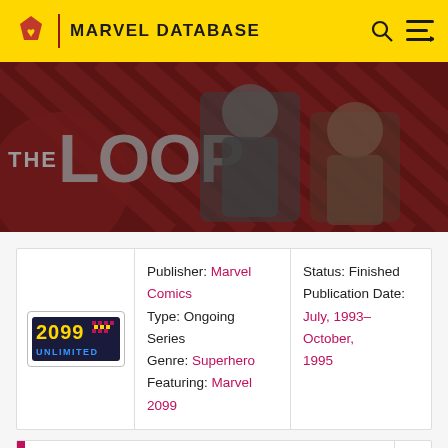MARVEL DATABASE
[Figure (screenshot): THE LOOP promotional banner with dark red background and diagonal stripe pattern, showing armored characters]
| Logo | Details | Status |
| --- | --- | --- |
| 2099 Unlimited logo | Publisher: Marvel Comics
Type: Ongoing Series
Genre: Superhero
Featuring: Marvel 2099 | Status: Finished
Publication Date: July, 1993–October, 1995 |
10 issues • 172 images • 1 reprinted issue